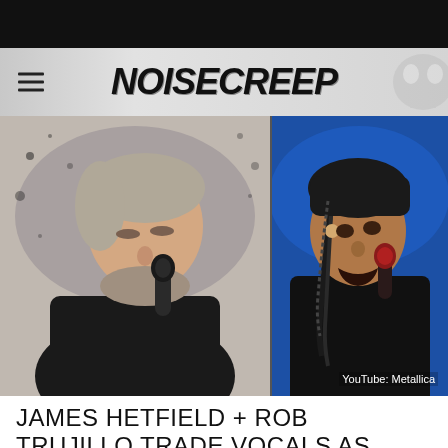NOISECREEP
[Figure (photo): Two side-by-side concert photos: left shows James Hetfield (grey-haired man in black hoodie) singing into a vintage microphone against a grey/white splattered background; right shows Rob Trujillo (dark-haired man with braids in black shirt) singing into a vintage microphone against a blue stage background. Credit: YouTube: Metallica]
YouTube: Metallica
JAMES HETFIELD + ROB TRUJILLO TRADE VOCALS AS